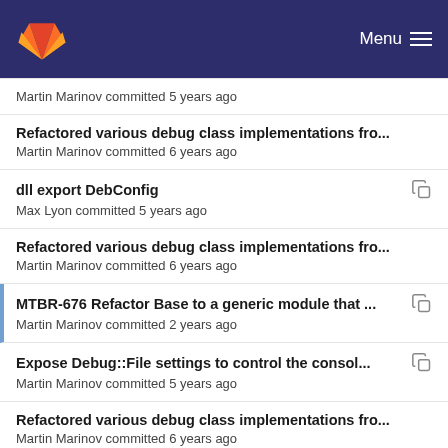GitLab Menu
Martin Marinov committed 5 years ago
Refactored various debug class implementations fro...
Martin Marinov committed 6 years ago
dll export DebConfig
Max Lyon committed 5 years ago
Refactored various debug class implementations fro...
Martin Marinov committed 6 years ago
MTBR-676 Refactor Base to a generic module that ...
Martin Marinov committed 2 years ago
Expose Debug::File settings to control the consol...
Martin Marinov committed 5 years ago
Refactored various debug class implementations fro...
Martin Marinov committed 6 years ago